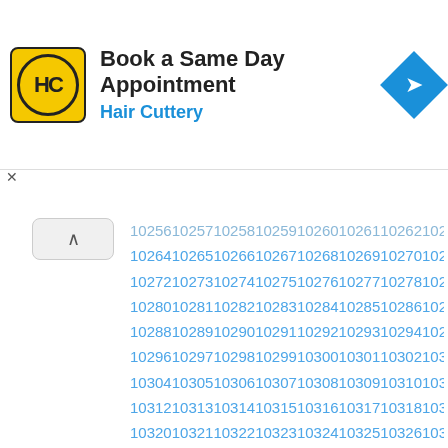[Figure (illustration): Hair Cuttery advertisement banner with logo and navigation icon. Text: 'Book a Same Day Appointment' and 'Hair Cuttery']
| 10256 | 10257 | 10258 | 10259 | 10260 | 10261 | 10262 | 10263 |
| 10264 | 10265 | 10266 | 10267 | 10268 | 10269 | 10270 | 10271 |
| 10272 | 10273 | 10274 | 10275 | 10276 | 10277 | 10278 | 10279 |
| 10280 | 10281 | 10282 | 10283 | 10284 | 10285 | 10286 | 10287 |
| 10288 | 10289 | 10290 | 10291 | 10292 | 10293 | 10294 | 10295 |
| 10296 | 10297 | 10298 | 10299 | 10300 | 10301 | 10302 | 10303 |
| 10304 | 10305 | 10306 | 10307 | 10308 | 10309 | 10310 | 10311 |
| 10312 | 10313 | 10314 | 10315 | 10316 | 10317 | 10318 | 10319 |
| 10320 | 10321 | 10322 | 10323 | 10324 | 10325 | 10326 | 10327 |
| 10328 | 10329 | 10330 | 10331 | 10332 | 10333 | 10334 | 10335 |
| 10336 | 10337 | 10338 | 10339 | 10340 | 10341 | 10342 | 10343 |
| 10344 | 10345 | 10346 | 10347 | 10348 | 10349 | 10350 | 10351 |
| 10352 | 10353 | 10354 | 10355 | 10356 | 10357 | 10358 | 10359 |
| 10360 | 10361 | 10362 | 10363 | 10364 | 10365 | 10366 | 10367 |
| 10368 | 10369 | 10370 | 10371 | 10372 | 10373 | 10374 | 10375 |
| 10376 | 10377 | 10378 | 10379 | 10380 | 10381 | 10382 | 10383 |
| 10384 | 10385 | 10386 | 10387 | 10388 | 10389 | 10390 | 10391 |
| 10392 | 10393 | 10394 | 10395 | 10396 | 10397 | 10398 | 10399 |